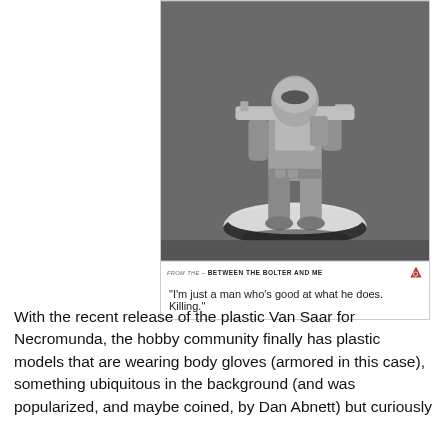[Figure (photo): Black and white photo of a miniature figurine of an armored soldier/warrior holding a rifle, standing on a round base. The figure appears to be an unpainted or primed Warhammer/Necromunda miniature. A watermark bar at the bottom reads 'BETWEEN THE BOLTER AND ME' with a small red icon.]
"I'm just a man who's good at what he does. Killing."
With the recent release of the plastic Van Saar for Necromunda, the hobby community finally has plastic models that are wearing body gloves (armored in this case), something ubiquitous in the background (and was popularized, and maybe coined, by Dan Abnett) but curiously